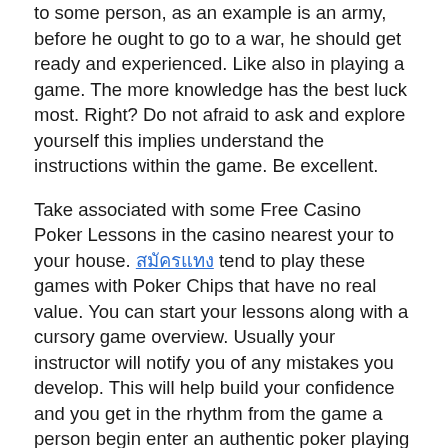to some person, as an example is an army, before he ought to go to a war, he should get ready and experienced. Like also in playing a game. The more knowledge has the best luck most. Right? Do not afraid to ask and explore yourself this implies understand the instructions within the game. Be excellent.
Take associated with some Free Casino Poker Lessons in the casino nearest your to your house. [link text] tend to play these games with Poker Chips that have no real value. You can start your lessons along with a cursory game overview. Usually your instructor will notify you of any mistakes you develop. This will help build your confidence and you get in the rhythm from the game a person begin enter an authentic poker playing environment.